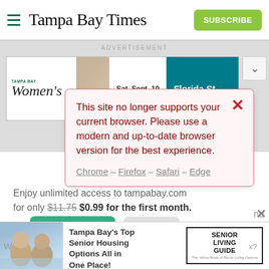Tampa Bay Times
[Figure (screenshot): Advertisement banner for Tampa Bay Women's event, Sat. Sept. 10, with Florida State text and teal background]
[Figure (screenshot): Browser compatibility warning popup: 'This site no longer supports your current browser. Please use a modern and up-to-date browser version for the best experience. Chrome – Firefox – Safari – Edge']
Enjoy unlimited access to tampabay.com for only $11.75 $0.99 for the first month.
Subscribe  Log In
Interested in print delivery? Subscribe here →
[Figure (screenshot): Bottom advertisement: Tampa Bay's Top Senior Housing Options All in One Place! Senior Living Guide]